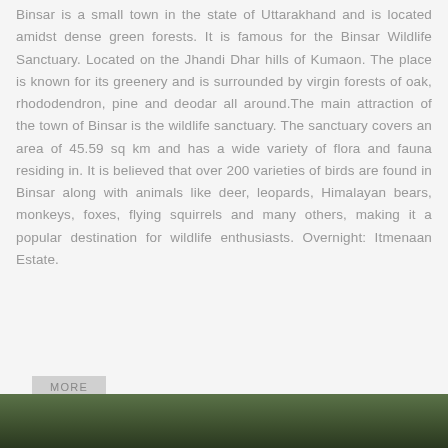Binsar is a small town in the state of Uttarakhand and is located amidst dense green forests. It is famous for the Binsar Wildlife Sanctuary. Located on the Jhandi Dhar hills of Kumaon. The place is known for its greenery and is surrounded by virgin forests of oak, rhododendron, pine and deodar all around.The main attraction of the town of Binsar is the wildlife sanctuary. The sanctuary covers an area of 45.59 sq km and has a wide variety of flora and fauna residing in. It is believed that over 200 varieties of birds are found in Binsar along with animals like deer, leopards, Himalayan bears, monkeys, foxes, flying squirrels and many others, making it a popular destination for wildlife enthusiasts. Overnight: Itmenaan Estate.
MORE
[Figure (photo): Partial photo strip at the bottom of the page showing dense green forest/trees, dark green tones.]